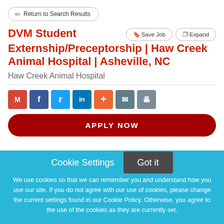← Return to Search Results
DVM Student Externship/Preceptorship | Haw Creek Animal Hospital | Asheville, NC
Haw Creek Animal Hospital
APPLY NOW
Cookie Settings  Got it
We use cookies so that we can remember you and understand how you use our site. If you do not agree with our use of cookies, please change the current settings found in our Cookie Policy. Otherwise, you agree to the use of the cookies as they are currently set.